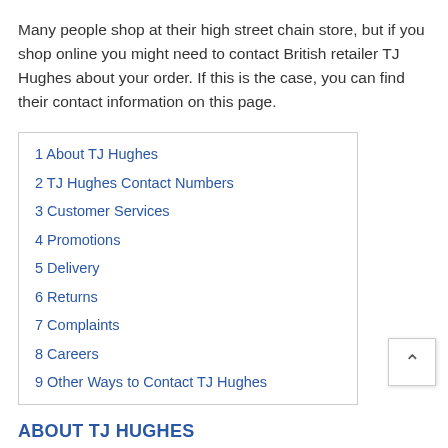Many people shop at their high street chain store, but if you shop online you might need to contact British retailer TJ Hughes about your order. If this is the case, you can find their contact information on this page.
1 About TJ Hughes
2 TJ Hughes Contact Numbers
3 Customer Services
4 Promotions
5 Delivery
6 Returns
7 Complaints
8 Careers
9 Other Ways to Contact TJ Hughes
ABOUT TJ HUGHES